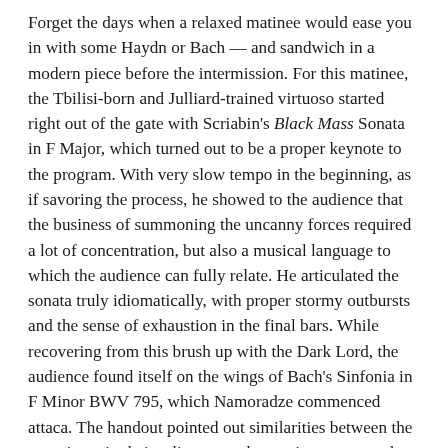Forget the days when a relaxed matinee would ease you in with some Haydn or Bach — and sandwich in a modern piece before the intermission. For this matinee, the Tbilisi-born and Julliard-trained virtuoso started right out of the gate with Scriabin's Black Mass Sonata in F Major, which turned out to be a proper keynote to the program. With very slow tempo in the beginning, as if savoring the process, he showed to the audience that the business of summoning the uncanny forces required a lot of concentration, but also a musical language to which the audience can fully relate. He articulated the sonata truly idiomatically, with proper stormy outbursts and the sense of exhaustion in the final bars. While recovering from this brush up with the Dark Lord, the audience found itself on the wings of Bach's Sinfonia in F Minor BWV 795, which Namoradze commenced attaca. The handout pointed out similarities between the two pieces in their reliance on chromatic sequences, but whatever the pretext of this juxtaposition, it worked magnificently.
With all this magic in the air, Namoradze's somewhat revisionist approach to Bach's Partita BWV 830 could not surprise anyone. The Toccata reveled in very fluid tempi,